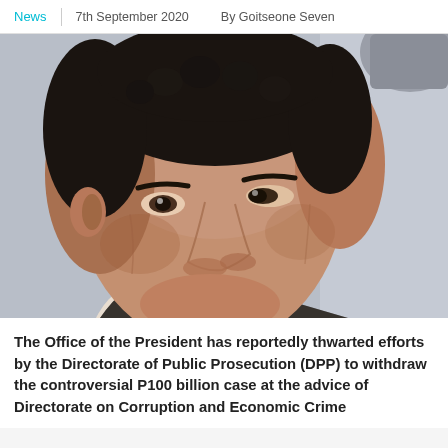News  |  7th September 2020  By Goitseone Seven
[Figure (photo): Close-up portrait photo of an older man with dark curly hair, wearing a houndstooth patterned jacket and white shirt, looking to the side with a serious expression.]
The Office of the President has reportedly thwarted efforts by the Directorate of Public Prosecution (DPP) to withdraw the controversial P100 billion case at the advice of Directorate on Corruption and Economic Crime